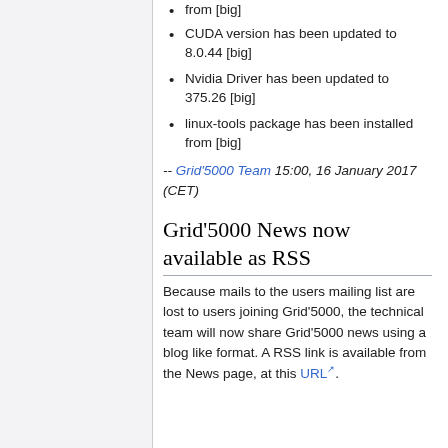from [big]
CUDA version has been updated to 8.0.44 [big]
Nvidia Driver has been updated to 375.26 [big]
linux-tools package has been installed from [big]
-- Grid'5000 Team 15:00, 16 January 2017 (CET)
Grid'5000 News now available as RSS
Because mails to the users mailing list are lost to users joining Grid'5000, the technical team will now share Grid'5000 news using a blog like format. A RSS link is available from the News page, at this URL.